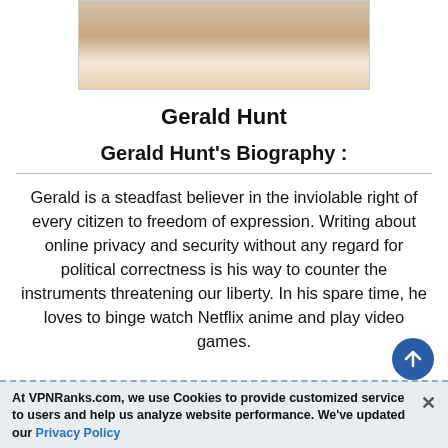[Figure (photo): Cropped photo of Gerald Hunt, showing his face and upper body in a white shirt against a light background]
Gerald Hunt
Gerald Hunt's Biography :
Gerald is a steadfast believer in the inviolable right of every citizen to freedom of expression. Writing about online privacy and security without any regard for political correctness is his way to counter the instruments threatening our liberty. In his spare time, he loves to binge watch Netflix anime and play video games.
At VPNRanks.com, we use Cookies to provide customized service to users and help us analyze website performance. We've updated our Privacy Policy